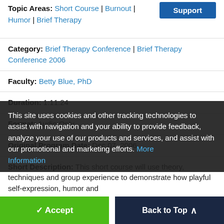Topic Areas: Short Course | Burnout | Humor | Brief Therapy
Category: Brief Therapy Conference | Brief Therapy Conference 2006
Faculty: Betty Blue, PhD
Duration: 1:11:24
Format: Audio Only
Original Program Date: Dec 07, 2006
Short Description: This short course will use theory, techniques and group experience to demonstrate how playful self-expression, humor and assist with navigation and fantasy can be used as stress reducing strategies. You will learn how to discourage learned helplessness "burn out", encourage the ability to cope with life's and increase opportunities to enhance natural immune system functioning.
This site uses cookies and other tracking technologies to assist with navigation and your ability to provide feedback, analyze your use of our products and services, and assist with our promotional and marketing efforts. More Information
Accept
Back to Top